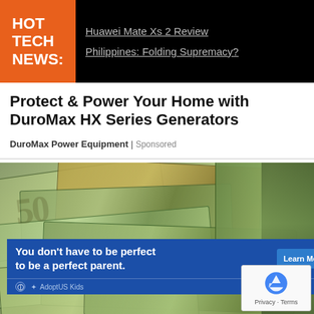HOT TECH NEWS:
Huawei Mate Xs 2 Review Philippines: Folding Supremacy?
Protect & Power Your Home with DuroMax HX Series Generators
DuroMax Power Equipment | Sponsored
[Figure (photo): Close-up photo of US dollar bills (50s and 100s) stacked and fanned out, with an adoption advertisement banner overlay and a reCAPTCHA widget in the bottom-right corner.]